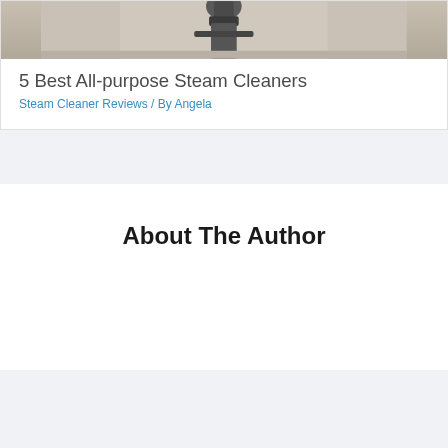[Figure (photo): Top portion of a steam cleaner image, cropped, showing the nozzle/head of the device against a neutral background.]
5 Best All-purpose Steam Cleaners
Steam Cleaner Reviews / By Angela
About The Author